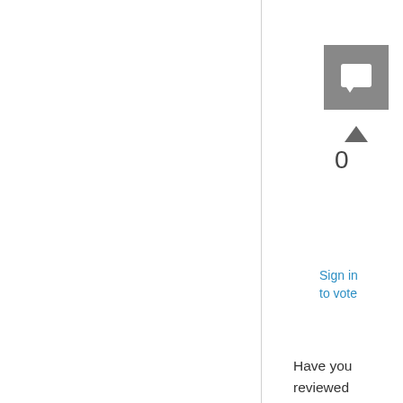[Figure (other): Comment/reply icon - grey square with white speech bubble symbol]
0
Sign in to vote
Have you reviewed clientidmanagerstartup.log on the clients and MP_CliReg.log on the MP?
Jason | http://blog.configmgrftw.com | @jasonsandys
Wednesday, June 8, 2016 8:08 PM